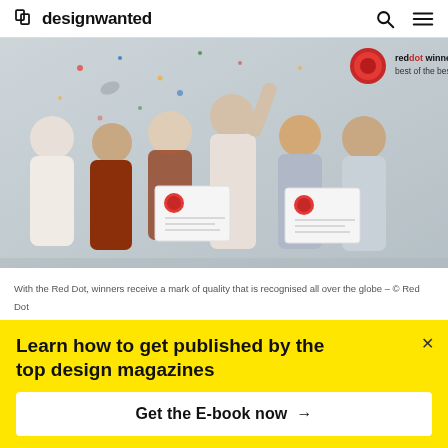designwanted
[Figure (photo): Group of six people celebrating, holding Red Dot award certificates. A reddot winner 2020 best of the best label appears in the top right of the image.]
With the Red Dot, winners receive a mark of quality that is recognised all over the globe – © Red Dot
Learn how to get published by the top design magazines
Get the E-book now →